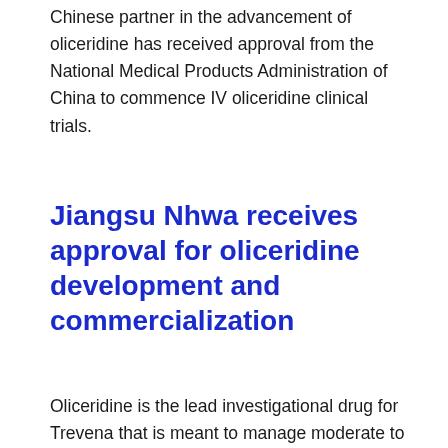Chinese partner in the advancement of oliceridine has received approval from the National Medical Products Administration of China to commence IV oliceridine clinical trials.
Jiangsu Nhwa receives approval for oliceridine development and commercialization
Oliceridine is the lead investigational drug for Trevena that is meant to manage moderate to severe acute pain. The company's Chinese partner, Jiangsu Nhwa, has a special license agreement for developing as well as commercializing oliceridine in the country.
Carrie Bourdow, the CEO and president of Trevena, indicated